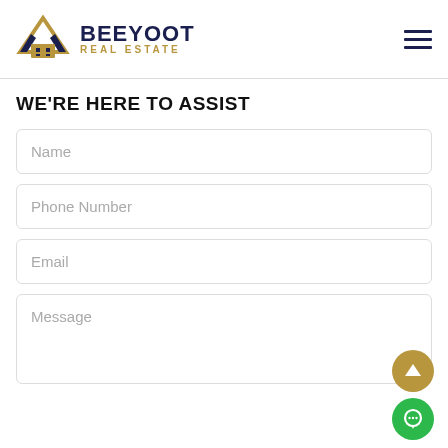[Figure (logo): Beeyoot Real Estate logo with house/roof icon in navy and gold, text BEEYOOT in dark navy bold and REAL ESTATE in gold spaced letters]
WE'RE HERE TO ASSIST
Name
Phone Number
Email
Message